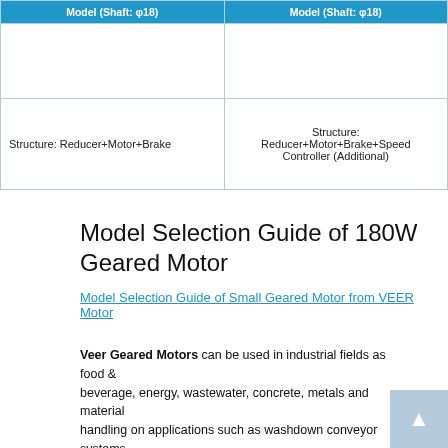| Model (Shaft: φ18) | Model (Shaft: φ18) |
| --- | --- |
|  |  |
| Structure: Reducer+Motor+Brake | Structure:
Reducer+Motor+Brake+Speed Controller (Additional) |
Model Selection Guide of 180W Geared Motor
Model Selection Guide of Small Geared Motor from VEER Motor
Veer Geared Motors can be used in industrial fields as food & beverage, energy, wastewater, concrete, metals and material handling on applications such as washdown conveyor systems, rolling mills, monorail systems and overhead conveyors, sludge